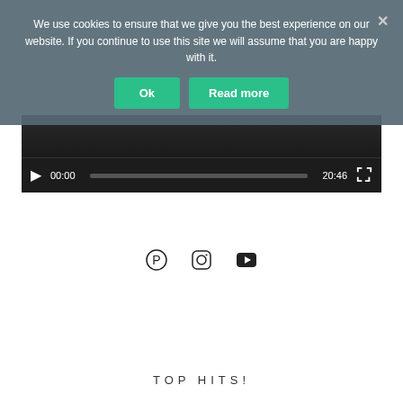We use cookies to ensure that we give you the best experience on our website. If you continue to use this site we will assume that you are happy with it.
[Figure (screenshot): Cookie consent banner with Ok and Read more buttons on a semi-transparent dark overlay, with an X close button]
[Figure (screenshot): Video player with thumbnail strip, play button, current time 00:00, progress bar, total time 20:46, and fullscreen button]
[Figure (infographic): Social media icons: Pinterest, Instagram, YouTube]
TOP HITS!